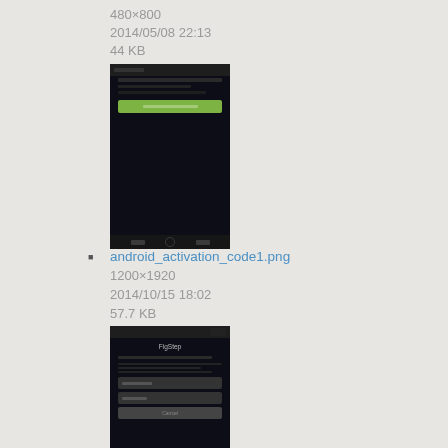480×800
2014/05/08 22:13
44 KB
[Figure (screenshot): Thumbnail of an Android screen with a green activation button bar on dark background]
android_activation_code1.png
1200×1920
2014/10/15 18:02
57.7 KB
[Figure (screenshot): Thumbnail of an Android activation code screen with text fields on dark background]
android_activation_code2.png
1200×1920
2014/10/15 18:03
70.1 KB
[Figure (screenshot): Partial thumbnail of an Android screen, dark background]